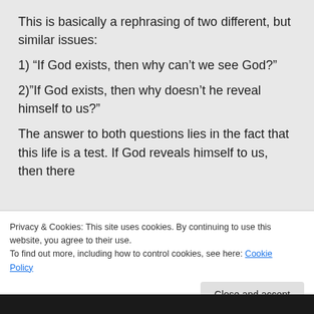This is basically a rephrasing of two different, but similar issues:
1) “If God exists, then why can’t we see God?”
2)”If God exists, then why doesn’t he reveal himself to us?”
The answer to both questions lies in the fact that this life is a test. If God reveals himself to us, then there
Privacy & Cookies: This site uses cookies. By continuing to use this website, you agree to their use.
To find out more, including how to control cookies, see here: Cookie Policy
Close and accept